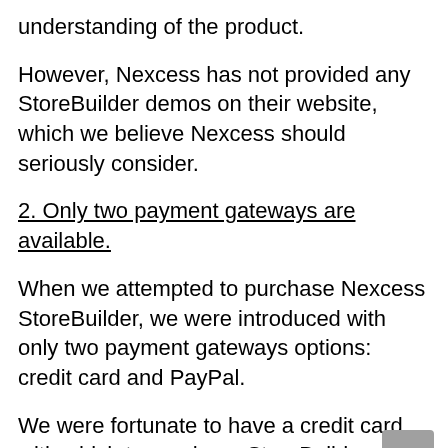understanding of the product.
However, Nexcess has not provided any StoreBuilder demos on their website, which we believe Nexcess should seriously consider.
2. Only two payment gateways are available.
When we attempted to purchase Nexcess StoreBuilder, we were introduced with only two payment gateways options: credit card and PayPal.
We were fortunate to have a credit card with which to purchase StoreBuilder.
However, we believe that if more payment options